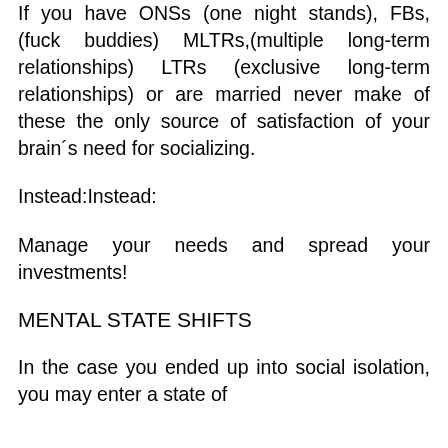If you have ONSs (one night stands), FBs, (fuck buddies) MLTRs,(multiple long-term relationships) LTRs (exclusive long-term relationships) or are married never make of these the only source of satisfaction of your brain´s need for socializing.
Instead:Instead:
Manage your needs and spread your investments!
MENTAL STATE SHIFTS
In the case you ended up into social isolation, you may enter a state of